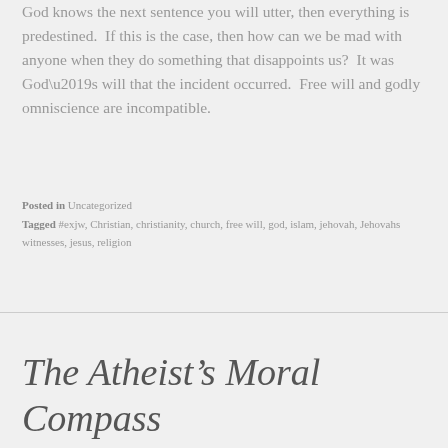God knows the next sentence you will utter, then everything is predestined.  If this is the case, then how can we be mad with anyone when they do something that disappoints us?  It was God’s will that the incident occurred.  Free will and godly omniscience are incompatible.
Posted in Uncategorized
Tagged #exjw, Christian, christianity, church, free will, god, islam, jehovah, Jehovahs witnesses, jesus, religion
The Atheist’s Moral Compass